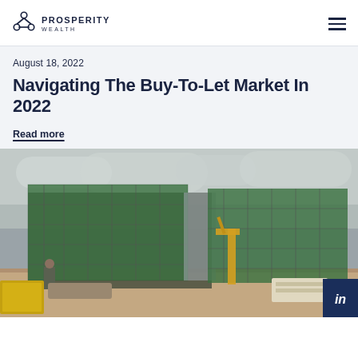Prosperity Wealth
August 18, 2022
Navigating The Buy-To-Let Market In 2022
Read more
[Figure (photo): Construction site photograph showing a large building under construction wrapped in green scaffolding netting, with a yellow crane and skip bins in the foreground under a cloudy grey sky.]